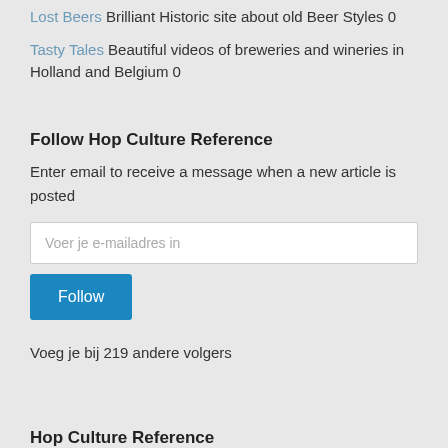Lost Beers Brilliant Historic site about old Beer Styles 0
Tasty Tales Beautiful videos of breweries and wineries in Holland and Belgium 0
Follow Hop Culture Reference
Enter email to receive a message when a new article is posted
Voer je e-mailadres in
Follow
Voeg je bij 219 andere volgers
Hop Culture Reference